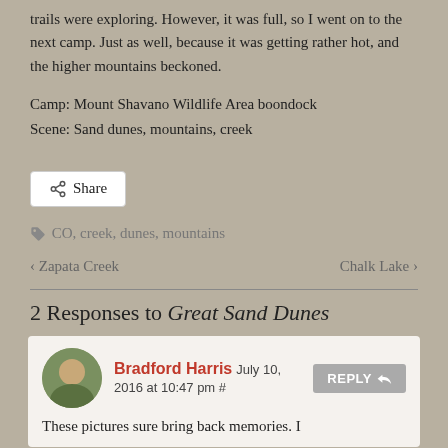trails were exploring. However, it was full, so I went on to the next camp. Just as well, because it was getting rather hot, and the higher mountains beckoned.
Camp: Mount Shavano Wildlife Area boondock
Scene: Sand dunes, mountains, creek
Share
CO, creek, dunes, mountains
< Zapata Creek    Chalk Lake >
2 Responses to Great Sand Dunes
Bradford Harris July 10, 2016 at 10:47 pm #  REPLY
These pictures sure bring back memories. I